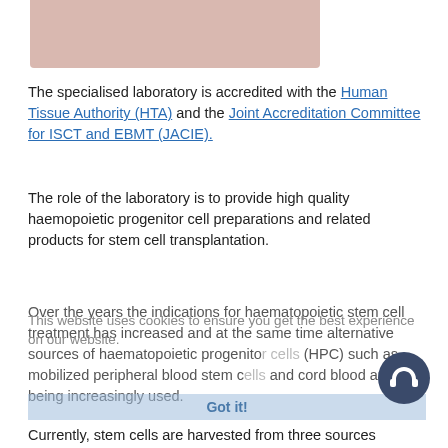[Figure (photo): Partial photo of a person or object with pinkish/skin tone background, cropped at top of page]
The specialised laboratory is accredited with the Human Tissue Authority (HTA) and the Joint Accreditation Committee for ISCT and EBMT (JACIE).
The role of the laboratory is to provide high quality haemopoietic progenitor cell preparations and related products for stem cell transplantation.
Over the years the indications for haematopoietic stem cell treatment has increased and at the same time alternative sources of haematopoietic progenitor cells (HPC) such as mobilized peripheral blood stem cells and cord blood are being increasingly used.
Currently, stem cells are harvested from three sources